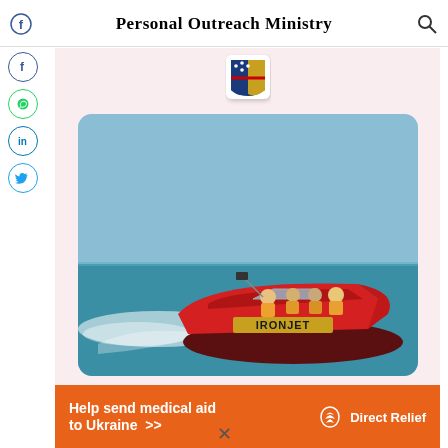Personal Outreach Ministry
[Figure (logo): Shield/crest logo with stars and diagonal stripe]
[Figure (photo): People riding a red IRONJET speedboat on the ocean, with white wake spray behind]
Help send medical aid to Ukraine >>
[Figure (logo): Direct Relief logo — white dove/hand icon with text 'Direct Relief']